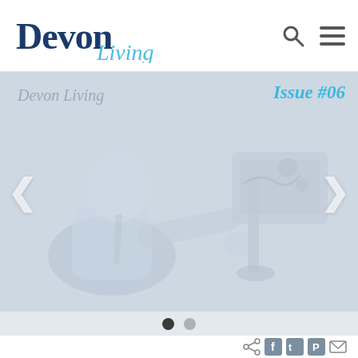[Figure (logo): Devon Living magazine logo with 'Devon' in dark blue bold serif and 'Living' in light blue cursive/italic]
[Figure (screenshot): Website screenshot of Devon Living magazine homepage showing a slideshow with a faded photo of a medical professional with a patient and medical device. Text overlay shows 'Devon Living' on the left and 'Issue #06' in blue on the right. Navigation arrows visible on both sides of the image. Two pagination dots at the bottom. Social sharing icons at bottom right.]